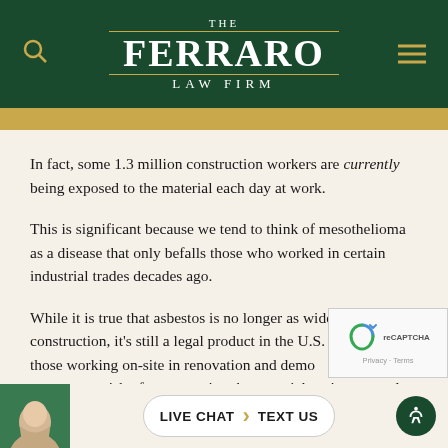[Figure (logo): The Ferraro Law Firm logo in white text on dark green background, with gold search icon on left and gold hamburger menu on right]
In fact, some 1.3 million construction workers are currently being exposed to the material each day at work.
This is significant because we tend to think of mesothelioma as a disease that only befalls those who worked in certain industrial trades decades ago.
While it is true that asbestos is no longer as widely used in construction, it's still a legal product in the U.S. What's more, those working on-site in renovation and demolition projects are more at risk of encountering the material, as it was used so frequently in older buildings. (Even the World Trade Center towers, which were relatively modern